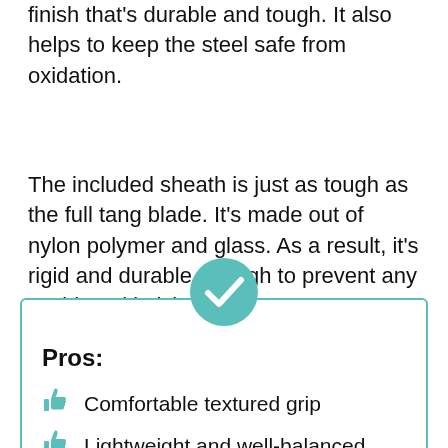finish that's durable and tough. It also helps to keep the steel safe from oxidation.
The included sheath is just as tough as the full tang blade. It's made out of nylon polymer and glass. As a result, it's rigid and durable enough to prevent any accidental knicks.
Pros:
Comfortable textured grip
Lightweight and well-balanced